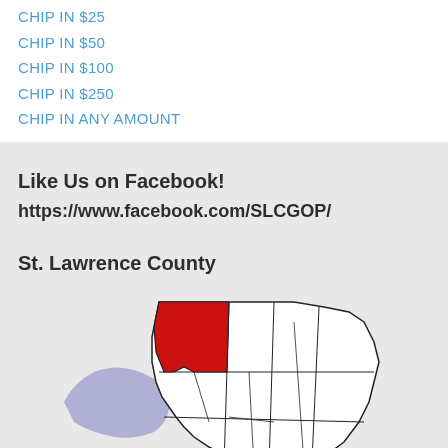CHIP IN $25
CHIP IN $50
CHIP IN $100
CHIP IN $250
CHIP IN ANY AMOUNT
Like Us on Facebook!
https://www.facebook.com/SLCGOP/
St. Lawrence County
[Figure (map): Map of New York State with St. Lawrence County highlighted in red in the northern region. The rest of the northern NY area is shown in white with county borders, and a blue-shaded region appears to the left/west representing a lake or neighboring area.]